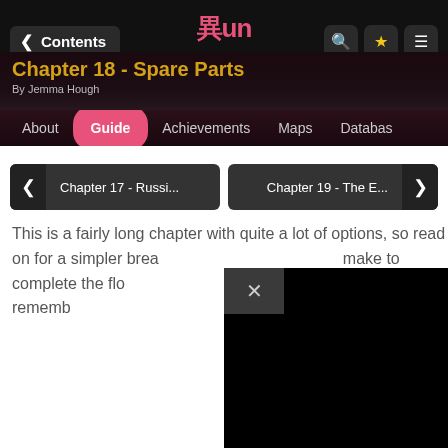Contents | Chapter 18 - Spare Parts | About | Guide | Achievements | Maps | Database
This is a fairly long chapter with quite a lot of options, so read on for a simpler break down of the choices you need to make to complete the flowchart during your first evil playthrough, but remember you may want to make the good choices first.
[Figure (screenshot): Black popup overlay with X close button covering part of the chapter body text]